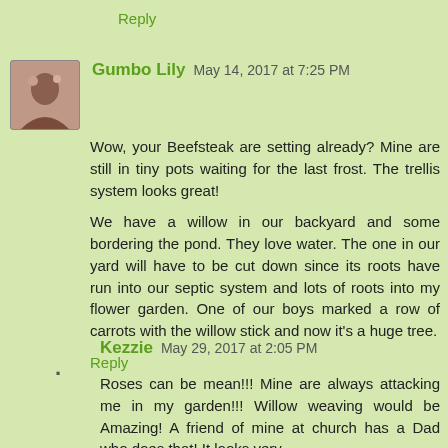Reply
Gumbo Lily May 14, 2017 at 7:25 PM
Wow, your Beefsteak are setting already? Mine are still in tiny pots waiting for the last frost. The trellis system looks great!
We have a willow in our backyard and some bordering the pond. They love water. The one in our yard will have to be cut down since its roots have run into our septic system and lots of roots into my flower garden. One of our boys marked a row of carrots with the willow stick and now it's a huge tree.
Reply
Kezzie May 29, 2017 at 2:05 PM
Roses can be mean!!! Mine are always attacking me in my garden!!! Willow weaving would be Amazing! A friend of mine at church has a Dad who does that! It looks very